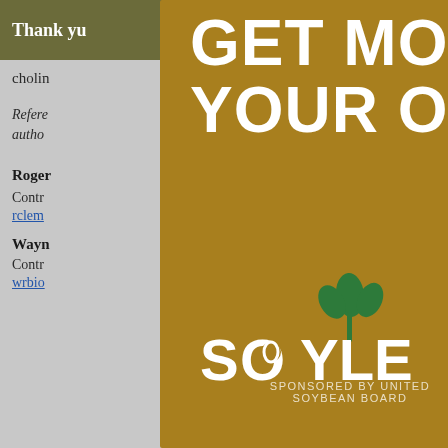Thank y… ools you
cholin…
Refere… n the autho…
Roger… Contr… rclem…
Wayn… Contr… wrbio…
[Figure (advertisement): Modal advertisement overlay with gold/olive background. Headline reads 'GET MORE FROM YOUR OIL WITH' in large white bold uppercase text. Below is the Soyleic logo (green plant icon above stylized text 'SOYLEIC'). Bottom left reads 'SPONSORED BY UNITED SOYBEAN BOARD'. Lower right shows a close-up photo of soybeans. Top right has a circular close button with X.]
[Figure (other): Dark navy blue 'Top' button with upward arrow in bottom-right corner of the page.]